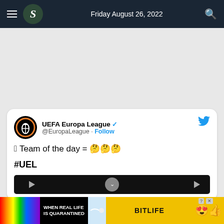Friday August 26, 2022
[Figure (screenshot): Tweet from UEFA Europa League @EuropaLeague: T-shirt emoji Team of the day = thinking emoji thinking emoji thinking emoji #UEL]
[Figure (screenshot): BitLife advertisement banner: WHEN REAL LIFE IS QUARANTINED - BitLife]